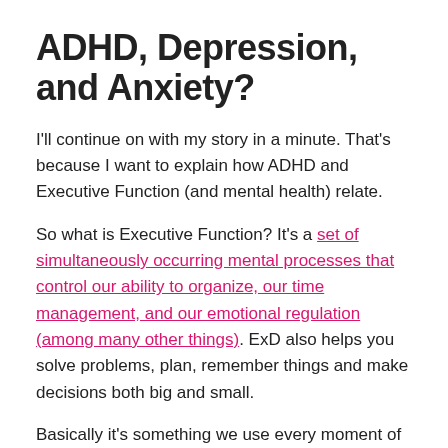ADHD, Depression, and Anxiety?
I'll continue on with my story in a minute. That's because I want to explain how ADHD and Executive Function (and mental health) relate.
So what is Executive Function? It's a set of simultaneously occurring mental processes that control our ability to organize, our time management, and our emotional regulation (among many other things). ExD also helps you solve problems, plan, remember things and make decisions both big and small.
Basically it's something we use every moment of every